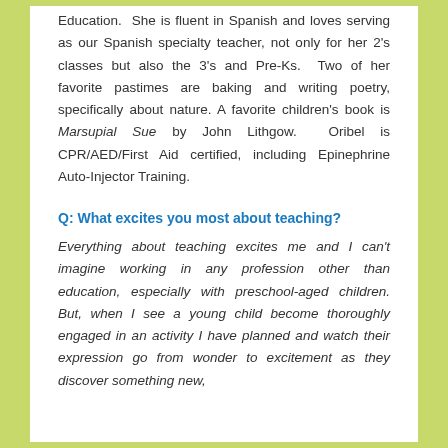Education. She is fluent in Spanish and loves serving as our Spanish specialty teacher, not only for her 2's classes but also the 3's and Pre-Ks. Two of her favorite pastimes are baking and writing poetry, specifically about nature. A favorite children's book is Marsupial Sue by John Lithgow. Oribel is CPR/AED/First Aid certified, including Epinephrine Auto-Injector Training.
Q: What excites you most about teaching?
Everything about teaching excites me and I can't imagine working in any profession other than education, especially with preschool-aged children. But, when I see a young child become thoroughly engaged in an activity I have planned and watch their expression go from wonder to excitement as they discover something new,